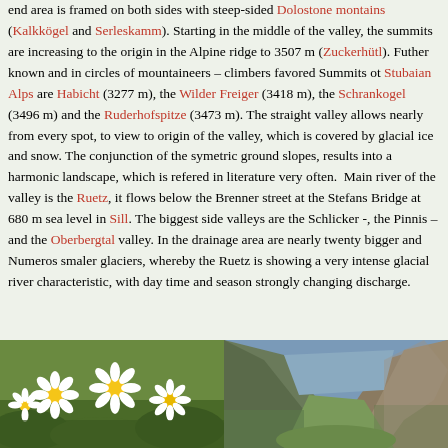end area is framed on both sides with steep-sided Dolostone montains (Kalkkögel and Serleskamm). Starting in the middle of the valley, the summits are increasing to the origin in the Alpine ridge to 3507 m (Zuckerhütl). Futher known and in circles of mountaineers – climbers favored Summits ot Stubaian Alps are Habicht (3277 m), the Wilder Freiger (3418 m), the Schrankogel (3496 m) and the Ruderhofspitze (3473 m). The straight valley allows nearly from every spot, to view to origin of the valley, which is covered by glacial ice and snow. The conjunction of the symetric ground slopes, results into a harmonic landscape, which is refered in literature very often.  Main river of the valley is the Ruetz, it flows below the Brenner street at the Stefans Bridge at 680 m sea level in Sill. The biggest side valleys are the Schlicker -, the Pinnis – and the Oberbergtal valley. In the drainage area are nearly twenty bigger and Numeros smaler glaciers, whereby the Ruetz is showing a very intense glacial river characteristic, with day time and season strongly changing discharge.
[Figure (photo): Close-up photo of white daisy flowers with yellow centers against green foliage background]
[Figure (photo): Mountain valley landscape photo showing steep rocky slopes with green vegetation]